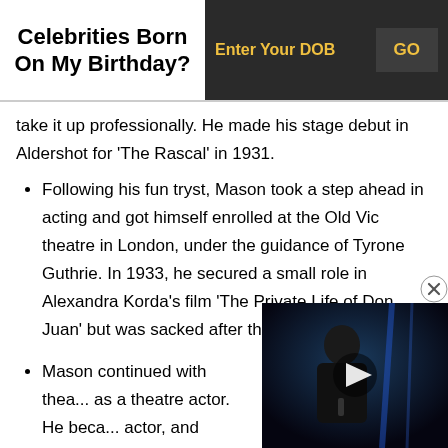Celebrities Born On My Birthday?
[Figure (screenshot): Dark input bar with 'Enter Your DOB' text and 'GO' button in yellow on dark background]
take it up professionally. He made his stage debut in Aldershot for ‘The Rascal’ in 1931.
Following his fun tryst, Mason took a step ahead in acting and got himself enrolled at the Old Vic theatre in London, under the guidance of Tyrone Guthrie. In 1933, he secured a small role in Alexandra Korda’s film ‘The Private Life of Don Juan’ but was sacked after three days.
Mason continued with thea... as a theatre actor. He beca... actor, and starred in a num...
[Figure (photo): A bald man in dark clothing performing on stage with dramatic blue lighting behind him, with a play button overlay suggesting a video player]